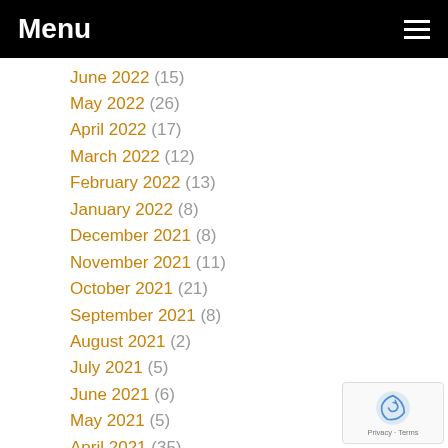Menu
June 2022 (15)
May 2022 (26)
April 2022 (17)
March 2022 (12)
February 2022 (13)
January 2022 (8)
December 2021 (8)
November 2021 (11)
October 2021 (21)
September 2021 (8)
August 2021 (2)
July 2021 (5)
June 2021 (6)
May 2021 (5)
April 2021 (35)
March 2021 (57)
February 2021 (50)
January 2021 (55)